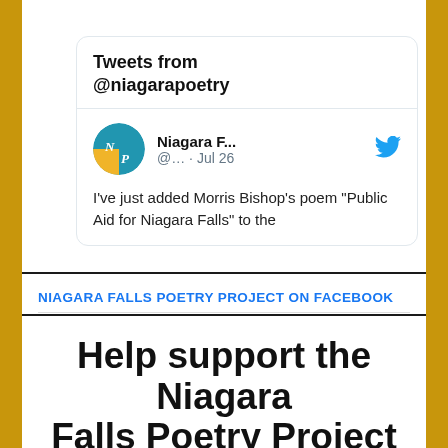[Figure (screenshot): Twitter widget showing tweets from @niagarapoetry, with a tweet by Niagara F... dated Jul 26, featuring a blue/yellow NP logo avatar, Twitter bird icon, and tweet text: I've just added Morris Bishop's poem "Public Aid for Niagara Falls" to the]
NIAGARA FALLS POETRY PROJECT ON FACEBOOK
Help support the Niagara Falls Poetry Project